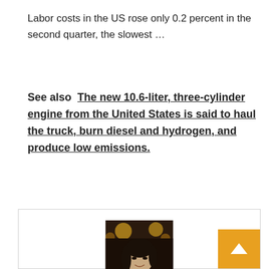Labor costs in the US rose only 0.2 percent in the second quarter, the slowest …
See also  The new 10.6-liter, three-cylinder engine from the United States is said to haul the truck, burn diesel and hydrogen, and produce low emissions.
[Figure (photo): Author photo of Victoria Goodwin, a young Asian woman smiling, wearing white, in a dimly lit restaurant setting]
Victoria Goodwin
"Proud twitter enthusiast. Introvert. Hardcore alcohol